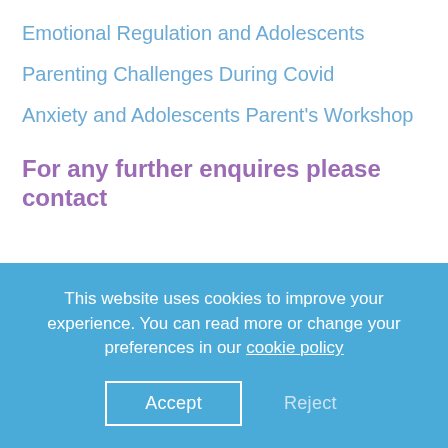Emotional Regulation and Adolescents
Parenting Challenges During Covid
Anxiety and Adolescents Parent's Workshop
For any further enquires please contact
This website uses cookies to improve your experience. You can read more or change your preferences in our cookie policy
Accept
Reject